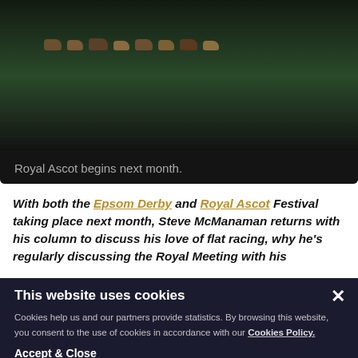[Figure (photo): Horse racing photo showing multiple horses racing on a green track, dark background, partial image.]
Royal Ascot begins next month.
With both the Epsom Derby and Royal Ascot Festival taking place next month, Steve McManaman returns with his column to discuss his love of flat racing, why he's regularly discussing the Royal Meeting with his
This website uses cookies
Cookies help us and our partners provide statistics. By browsing this website, you consent to the use of cookies in accordance with our Cookies Policy.
Accept & Close